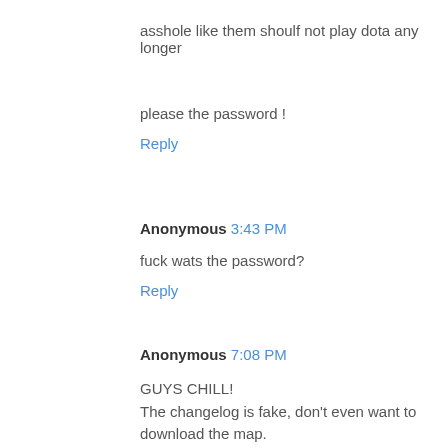asshole like them shoulf not play dota any longer
please the password !
Reply
Anonymous 3:43 PM
fuck wats the password?
Reply
Anonymous 7:08 PM
GUYS CHILL!
The changelog is fake, don't even want to download the map.
Trust me. I'm a beta.
Reply